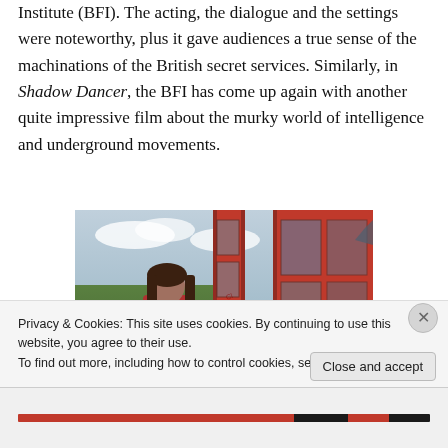Institute (BFI). The acting, the dialogue and the settings were noteworthy, plus it gave audiences a true sense of the machinations of the British secret services. Similarly, in Shadow Dancer, the BFI has come up again with another quite impressive film about the murky world of intelligence and underground movements.
[Figure (photo): A woman in a red jacket standing in front of red British telephone boxes, one with broken glass]
Privacy & Cookies: This site uses cookies. By continuing to use this website, you agree to their use.
To find out more, including how to control cookies, see here: Cookie Policy